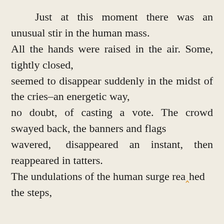Just at this moment there was an unusual stir in the human mass. All the hands were raised in the air. Some, tightly closed, seemed to disappear suddenly in the midst of the cries–an energetic way, no doubt, of casting a vote. The crowd swayed back, the banners and flags wavered, disappeared an instant, then reappeared in tatters. The undulations of the human surge reached the steps,